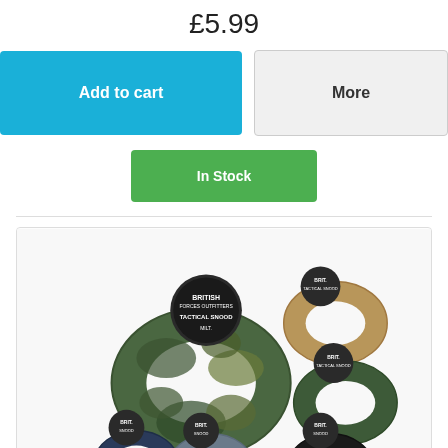£5.99
Add to cart
More
In Stock
[Figure (photo): Product photo showing multiple British Tactical Snood neck gaiters in various colors: camouflage, coyote/tan, olive green, navy blue, grey, and black. Products are shown in their retail packaging with circular hang tags.]